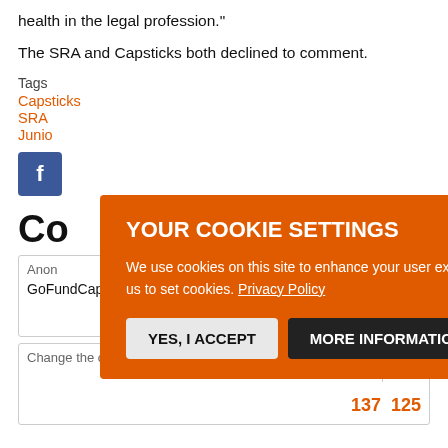health in the legal profession."
The SRA and Capsticks both declined to comment.
Tags
Capsticks
SRA
Junio
Co
Anon
GoFundCapsticks.
115  148
Change the culture 01 May 20 09:44
137  125
[Figure (infographic): Cookie consent overlay on orange background with title YOUR COOKIE SETTINGS, body text about cookies and privacy policy link, YES I ACCEPT button and MORE INFORMATION button]